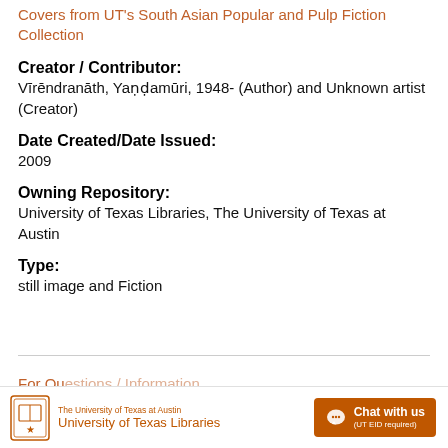Covers from UT's South Asian Popular and Pulp Fiction Collection
Creator / Contributor:
Vīrēndranāth, Yaṇḍamūri, 1948- (Author) and Unknown artist (Creator)
Date Created/Date Issued:
2009
Owning Repository:
University of Texas Libraries, The University of Texas at Austin
Type:
still image and Fiction
The University of Texas at Austin University of Texas Libraries  Chat with us (UT EID required)